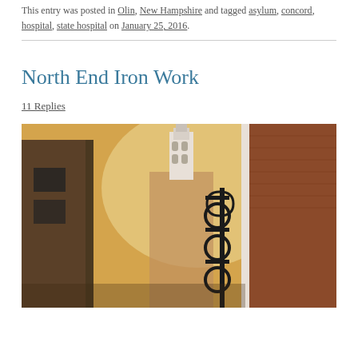This entry was posted in Olin, New Hampshire and tagged asylum, concord, hospital, state hospital on January 25, 2016.
North End Iron Work
11 Replies
[Figure (photo): Street-level photograph looking up at a narrow alley between brick buildings, with an ornate black iron gate/sign bracket on the right and a white church steeple visible in the warm golden-light background.]